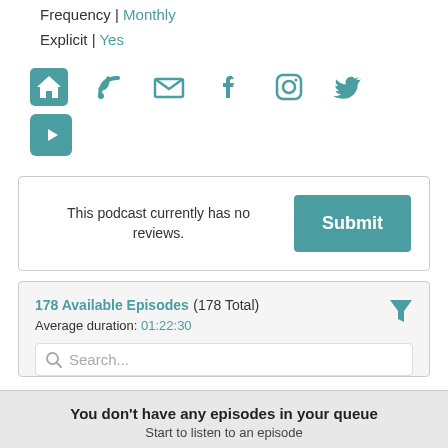Frequency | Monthly
Explicit | Yes
[Figure (infographic): Row of teal social/web icons: home, RSS feed, email, Facebook, Instagram, Twitter, and YouTube]
This podcast currently has no reviews.
Submit
178 Available Episodes (178 Total)  Average duration: 01:22:30
Search...
You don't have any episodes in your queue
Start to listen to an episode